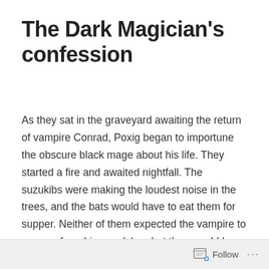The Dark Magician's confession
As they sat in the graveyard awaiting the return of vampire Conrad, Poxig began to importune the obscure black mage about his life. They started a fire and awaited nightfall. The suzukibs were making the loudest noise in the trees, and the bats would have to eat them for supper. Neither of them expected the vampire to emerge from his sepulcher, but they would be damned if they wouldn't wait for dusk.
Follow